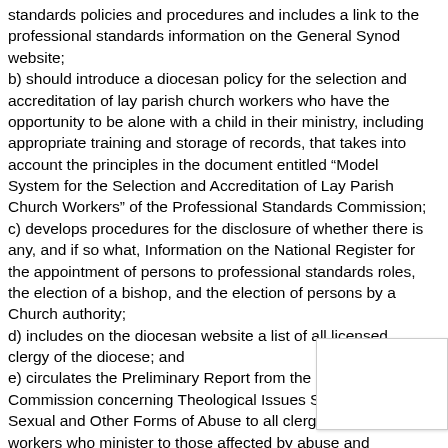standards policies and procedures and includes a link to the professional standards information on the General Synod website; b) should introduce a diocesan policy for the selection and accreditation of lay parish church workers who have the opportunity to be alone with a child in their ministry, including appropriate training and storage of records, that takes into account the principles in the document entitled “Model System for the Selection and Accreditation of Lay Parish Church Workers” of the Professional Standards Commission; c) develops procedures for the disclosure of whether there is any, and if so what, Information on the National Register for the appointment of persons to professional standards roles, the election of a bishop, and the election of persons by a Church authority; d) includes on the diocesan website a list of all licensed clergy of the diocese; and e) circulates the Preliminary Report from the Doctrine Commission concerning Theological Issues Surrounding Sexual and Other Forms of Abuse to all clergy, and church workers who minister to those affected by abuse and abusers.